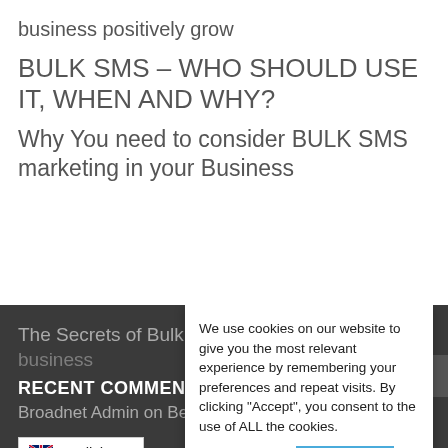business positively grow
BULK SMS – WHO SHOULD USE IT, WHEN AND WHY?
Why You need to consider BULK SMS marketing in your Business
The Secrets of Bulk SMS marketing and how to business
RECENT COMMENTS
Broadnet Admin on Benefits of using
We use cookies on our website to give you the most relevant experience by remembering your preferences and repeat visits. By clicking "Accept", you consent to the use of ALL the cookies.
Cookie settings
ACCEPT
English